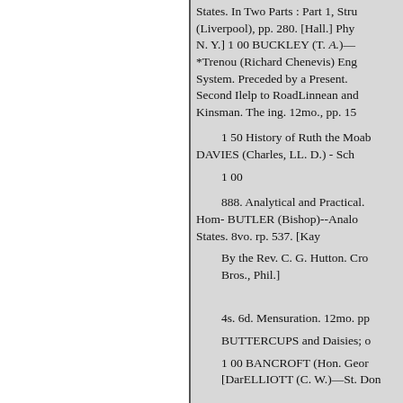States. In Two Parts : Part 1, Stru (Liverpool), pp. 280. [Hall.] Phy N. Y.] 1 00 BUCKLEY (T. A.)— *Trenou (Richard Chenevis) Eng System. Preceded by a Present. Second Ilelp to RoadLinnean and Kinsman. The ing. 12mo., pp. 15
1 50 History of Ruth the Moab
DAVIES (Charles, LL. D.) - Sch
1 00
888. Analytical and Practical.
Hom- BUTLER (Bishop)--Analo States. 8vo. rp. 537. [Kay
By the Rev. C. G. Hutton. Cro Bros., Phil.]
4s. 6d. Mensuration. 12mo. pp
BUTTERCUPS and Daisies; o
1 00 BANCROFT (Hon. Geor [DarELLIOTT (C. W.)—St. Don